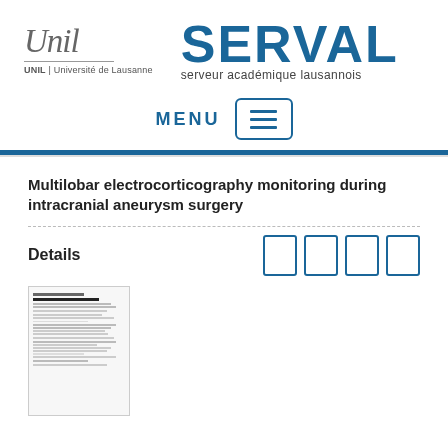[Figure (logo): UNIL Université de Lausanne logo with italic script and text]
[Figure (logo): SERVAL logo - serveur académique lausannois]
MENU
Multilobar electrocorticography monitoring during intracranial aneurysm surgery
Details
[Figure (screenshot): Thumbnail preview of a document page]